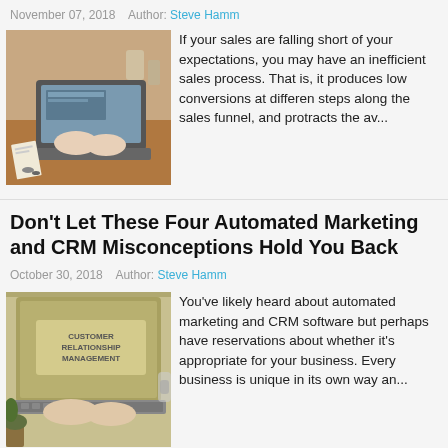November 07, 2018   Author: Steve Hamm
[Figure (photo): Person typing on a laptop at a desk with papers and keys nearby]
If your sales are falling short of your expectations, you may have an inefficient sales process. That is, it produces low conversions at different steps along the sales funnel, and protracts the av...
Don't Let These Four Automated Marketing and CRM Misconceptions Hold You Back
October 30, 2018   Author: Steve Hamm
[Figure (photo): Laptop screen showing 'Customer Relationship Management' text with hands typing]
You've likely heard about automated marketing and CRM software but perhaps have reservations about whether it's appropriate for your business. Every business is unique in its own way an...